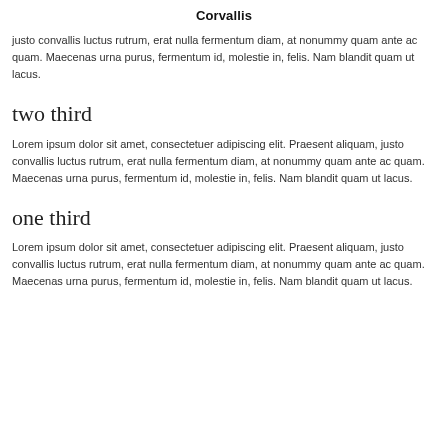Corvallis
justo convallis luctus rutrum, erat nulla fermentum diam, at nonummy quam ante ac quam. Maecenas urna purus, fermentum id, molestie in, felis. Nam blandit quam ut lacus.
two third
Lorem ipsum dolor sit amet, consectetuer adipiscing elit. Praesent aliquam, justo convallis luctus rutrum, erat nulla fermentum diam, at nonummy quam ante ac quam. Maecenas urna purus, fermentum id, molestie in, felis. Nam blandit quam ut lacus.
one third
Lorem ipsum dolor sit amet, consectetuer adipiscing elit. Praesent aliquam, justo convallis luctus rutrum, erat nulla fermentum diam, at nonummy quam ante ac quam. Maecenas urna purus, fermentum id, molestie in, felis. Nam blandit quam ut lacus.